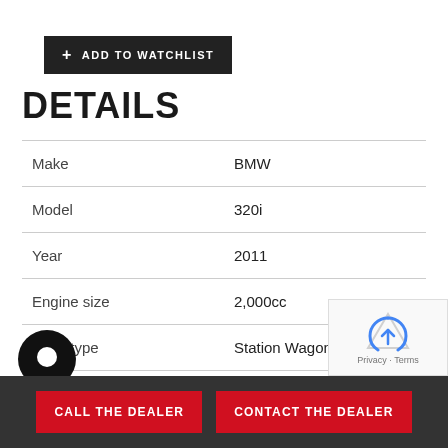+ ADD TO WATCHLIST
DETAILS
|  |  |
| --- | --- |
| Make | BMW |
| Model | 320i |
| Year | 2011 |
| Engine size | 2,000cc |
| Body type | Station Wagon |
| Odometer | 55,139 kms |
CALL THE DEALER
CONTACT THE DEALER